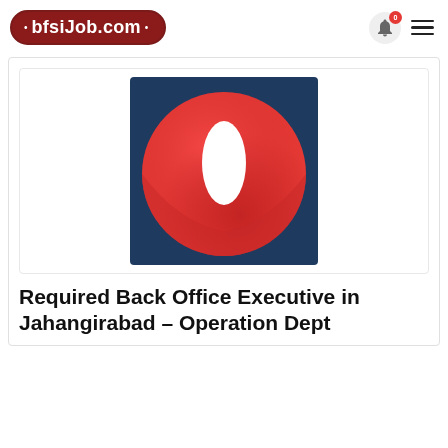[Figure (logo): bfsiJob.com website logo — dark red rounded rectangle badge with white text '• bfsiJob.com •']
[Figure (logo): Vodafone-style red circle logo on dark blue background — red circle with white leaf/eye shape in the center]
Required Back Office Executive in Jahangirabad – Operation Dept